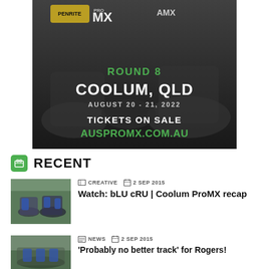[Figure (photo): Penrite Pro MX Motocross Championship promotional banner. Round 8 Coolum QLD August 20-21 2022. Tickets on sale auspromx.com.au. Shows motocross riders on dark background with AMX logo.]
RECENT
[Figure (photo): Three motocross riders posing outdoors with dirt bikes, wearing blue gear]
CREATIVE  2 SEP 2015
Watch: bLU cRU | Coolum ProMX recap
[Figure (photo): Motocross riders group photo at event]
NEWS  2 SEP 2015
'Probably no better track' for Rogers!